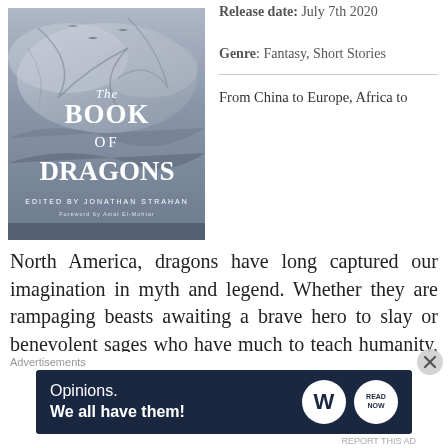[Figure (illustration): Book cover of 'The Book of Dragons' edited by Jonathan Strahan, with a foreword by Amal El-Mohtar. The cover shows a dramatic fantasy illustration with dragons and swirling clouds in blue-grey tones, with bold white lettering.]
Release date: July 7th 2020
Genre: Fantasy, Short Stories
From China to Europe, Africa to North America, dragons have long captured our imagination in myth and legend. Whether they are rampaging beasts awaiting a brave hero to slay or benevolent sages who have much to teach humanity, dragons are intrinsically connected to stories of creation,
Advertisements
[Figure (screenshot): Advertisement banner with dark navy background. Left side reads 'Opinions. We all have them!' in white text. Right side shows WordPress logo (W in white circle) and a 'read now' button logo.]